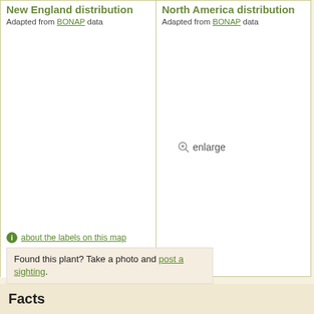New England distribution
Adapted from BONAP data
North America distribution
Adapted from BONAP data
[Figure (map): New England distribution map area (empty/blank in this view)]
[Figure (map): North America distribution map area with enlarge link]
about the labels on this map
Found this plant? Take a photo and post a sighting.
Facts